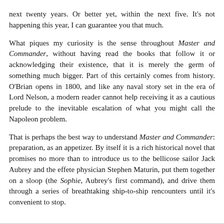next twenty years. Or better yet, within the next five. It's not happening this year, I can guarantee you that much.
What piques my curiosity is the sense throughout Master and Commander, without having read the books that follow it or acknowledging their existence, that it is merely the germ of something much bigger. Part of this certainly comes from history. O'Brian opens in 1800, and like any naval story set in the era of Lord Nelson, a modern reader cannot help receiving it as a cautious prelude to the inevitable escalation of what you might call the Napoleon problem.
That is perhaps the best way to understand Master and Commander: preparation, as an appetizer. By itself it is a rich historical novel that promises no more than to introduce us to the bellicose sailor Jack Aubrey and the effete physician Stephen Maturin, put them together on a sloop (the Sophie, Aubrey's first command), and drive them through a series of breathtaking ship-to-ship rencounters until it's convenient to stop.